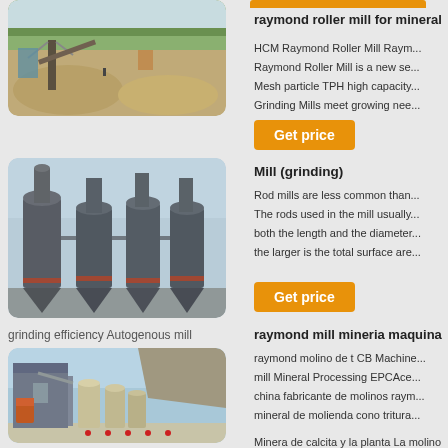[Figure (photo): Aerial view of a quarry or mining/crushing site with machinery and piles of aggregate material]
[Figure (photo): Industrial grinding mill equipment with multiple vertical cyclone dust collectors]
grinding efficiency Autogenous mill
[Figure (photo): Large industrial cement or mineral processing plant with silos and buildings against a rocky hillside]
Minera de calcita y la planta La molino de bolas vertical raymond de t h...
raymond roller mill for mineral
HCM Raymond Roller Mill Raym... Raymond Roller Mill is a new se... Mesh particle TPH high capacity... Grinding Mills meet growing nee...
[Figure (other): Orange Get price button]
Mill (grinding)
Rod mills are less common than... The rods used in the mill usually... both the length and the diameter... the larger is the total surface are...
[Figure (other): Orange Get price button]
raymond mill mineria maquina
raymond molino de t CB Machine... mill Mineral Processing EPCAce... china fabricante de molinos raym... mineral de molienda cono tritura...